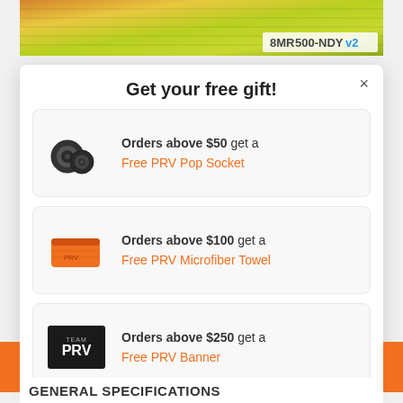[Figure (photo): Partial product image showing yellow/green textured fabric or speaker, with text label '8MR500-NDY v2' in bottom right corner]
Get your free gift!
Orders above $50 get a Free PRV Pop Socket
Orders above $100 get a Free PRV Microfiber Towel
Orders above $250 get a Free PRV Banner
GENERAL SPECIFICATIONS